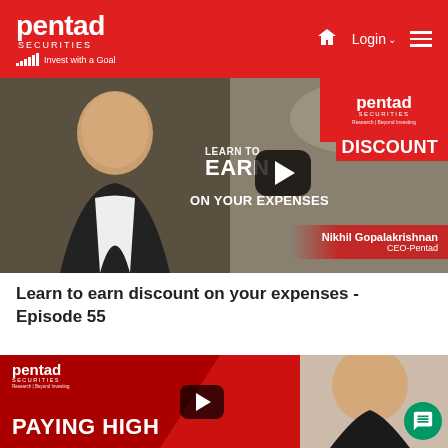pentad SECURITIES — Invest with a Goal | Login | Menu
[Figure (screenshot): Video thumbnail showing man in suit with text 'LEARN TO EARN DISCOUNT ON YOUR EXPENSES' and Nikhil Gopalakrishnan, CEO-Pentad, with YouTube play button overlay]
Learn to earn discount on your expenses - Episode 55
[Figure (screenshot): Video thumbnail with red background showing 'PAYING HIGH' text, Pentad logo, YouTube play button, and person photo on right side]